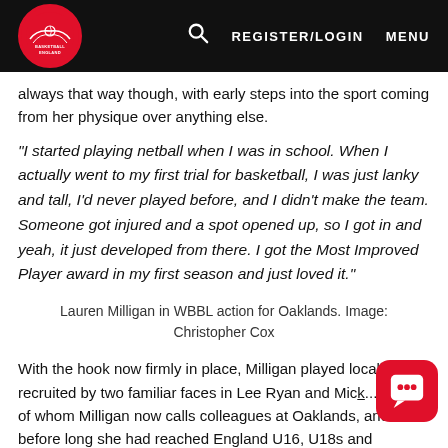Basketball England | REGISTER/LOGIN | MENU
always that way though, with early steps into the sport coming from her physique over anything else.
"I started playing netball when I was in school. When I actually went to my first trial for basketball, I was just lanky and tall, I'd never played before, and I didn't make the team. Someone got injured and a spot opened up, so I got in and yeah, it just developed from there. I got the Most Improved Player award in my first season and just loved it."
Lauren Milligan in WBBL action for Oaklands. Image: Christopher Cox
With the hook now firmly in place, Milligan played locally, recruited by two familiar faces in Lee Ryan and Mic...all, both of whom Milligan now calls colleagues at Oakla..., and before long she had reached England U16, U18s and...